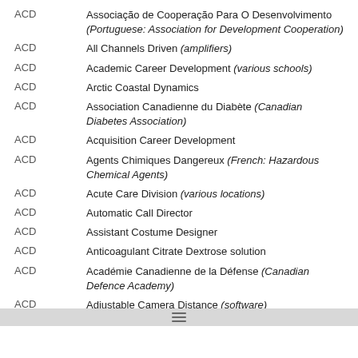ACD — Associação de Cooperação Para O Desenvolvimento (Portuguese: Association for Development Cooperation)
ACD — All Channels Driven (amplifiers)
ACD — Academic Career Development (various schools)
ACD — Arctic Coastal Dynamics
ACD — Association Canadienne du Diabète (Canadian Diabetes Association)
ACD — Acquisition Career Development
ACD — Agents Chimiques Dangereux (French: Hazardous Chemical Agents)
ACD — Acute Care Division (various locations)
ACD — Automatic Call Director
ACD — Assistant Costume Designer
ACD — Anticoagulant Citrate Dextrose solution
ACD — Académie Canadienne de la Défense (Canadian Defence Academy)
ACD — Adjustable Camera Distance (software)